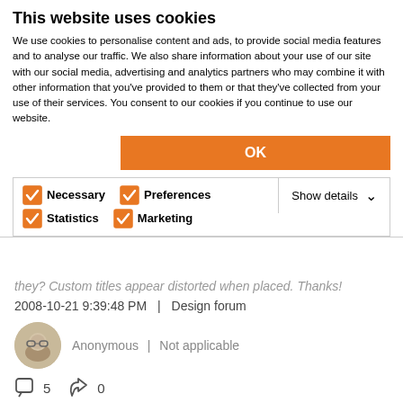This website uses cookies
We use cookies to personalise content and ads, to provide social media features and to analyse our traffic. We also share information about your use of our site with our social media, advertising and analytics partners who may combine it with other information that you've provided to them or that they've collected from your use of their services. You consent to our cookies if you continue to use our website.
OK
Necessary   Preferences   Statistics   Marketing   Show details
they? Custom titles appear distorted when placed. Thanks!
2008-10-21 9:39:48 PM  |  Design forum
Anonymous | Not applicable
5   0
D2 Segmented Transom 12 Equal Leaf Sizes
I guess this is just not my ArchiDev. Can someone please